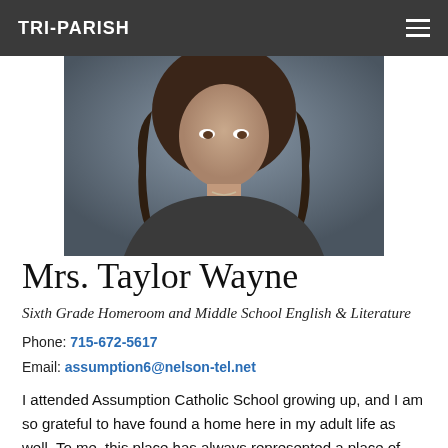TRI-PARISH
[Figure (photo): Headshot photo of Mrs. Taylor Wayne, a woman with long brown hair wearing a dark top, against a gray-blue blurred background.]
Mrs. Taylor Wayne
Sixth Grade Homeroom and Middle School English & Literature
Phone: 715-672-5617
Email: assumption6@nelson-tel.net
I attended Assumption Catholic School growing up, and I am so grateful to have found a home here in my adult life as well. To me, this place has always represented a place of community and safety. Our teachers and families work together to provide a place of faith and love to each child.